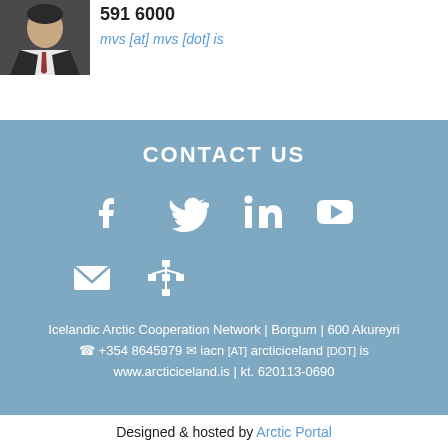[Figure (photo): Portrait photo of a man in a suit and tie]
591 6000
mvs [AT] mvs [DOT] is
CONTACT US
[Figure (infographic): Social media icons: Facebook, Twitter, LinkedIn, YouTube, Email, Network/Sitemap]
Icelandic Arctic Cooperation Network | Borgum | 600 Akureyri
☎ +354 8645979 ✉ iacn [AT] arcticiceland [DOT] is
www.arcticiceland.is | kt. 620113-0690
Designed & hosted by Arctic Portal